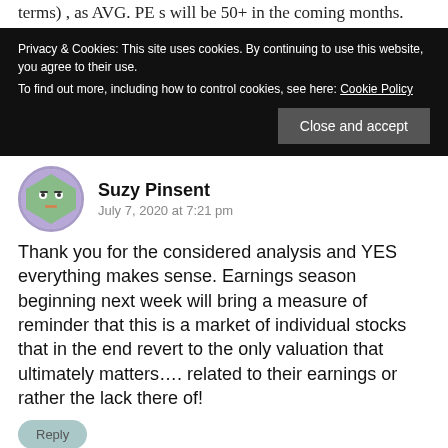terms) , as AVG. PE s will be 50+ in the coming months.
Privacy & Cookies: This site uses cookies. By continuing to use this website, you agree to their use.
To find out more, including how to control cookies, see here: Cookie Policy
Close and accept
Suzy Pinsent
July 7, 2020 at 7:21 pm
Thank you for the considered analysis and YES everything makes sense. Earnings season beginning next week will bring a measure of reminder that this is a market of individual stocks that in the end revert to the only valuation that ultimately matters…. related to their earnings or rather the lack there of!
Reply
Backseat investor
July 8, 2020 at 2:38 am